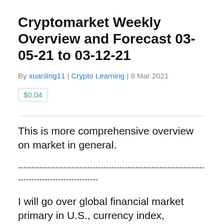Cryptomarket Weekly Overview and Forecast 03-05-21 to 03-12-21
By xuanling11 | Crypto Learning | 8 Mar 2021
$0.04
This is more comprehensive overview on market in general.
--------------------------------------------------------------------------------------------------------------------------------------
I will go over global financial market primary in U.S., currency index, commodities, bonds, stocks, and forecast